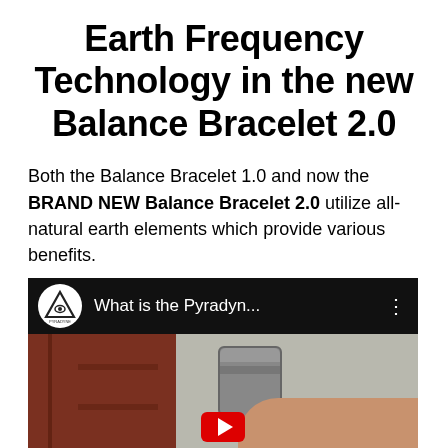Earth Frequency Technology in the new Balance Bracelet 2.0
Both the Balance Bracelet 1.0 and now the BRAND NEW Balance Bracelet 2.0 utilize all-natural earth elements which provide various benefits.
[Figure (screenshot): YouTube video thumbnail showing 'What is the Pyradyn...' with Pyradyne channel icon (triangle/eye logo) on black bar, and a thumbnail image showing a bracelet/cylindrical object held in a hand]